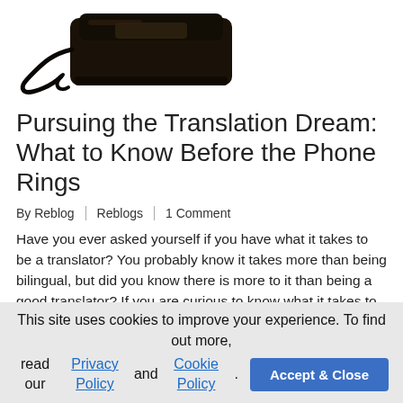[Figure (photo): Vintage black rotary telephone with cord, photographed against a white background, showing the top and side of the phone.]
Pursuing the Translation Dream: What to Know Before the Phone Rings
By Reblog | Reblogs | 1 Comment
Have you ever asked yourself if you have what it takes to be a translator? You probably know it takes more than being bilingual, but did you know there is more to it than being a good translator? If you are curious to know what it takes to build a successful translation career, you may…
Details > | October 17, 2017 ✏
This site uses cookies to improve your experience. To find out more, read our Privacy Policy and Cookie Policy.